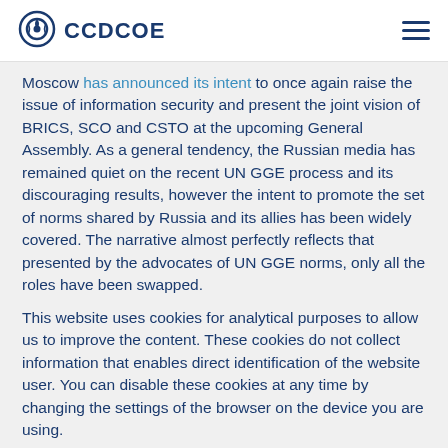CCDCOE
Moscow has announced its intent to once again raise the issue of information security and present the joint vision of BRICS, SCO and CSTO at the upcoming General Assembly. As a general tendency, the Russian media has remained quiet on the recent UN GGE process and its discouraging results, however the intent to promote the set of norms shared by Russia and its allies has been widely covered. The narrative almost perfectly reflects that presented by the advocates of UN GGE norms, only all the roles have been swapped.
This website uses cookies for analytical purposes to allow us to improve the content. These cookies do not collect information that enables direct identification of the website user. You can disable these cookies at any time by changing the settings of the browser on the device you are using.
I understand